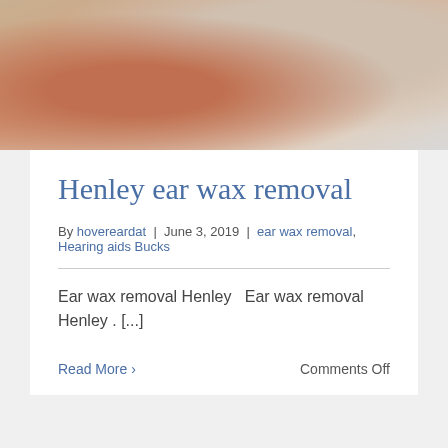[Figure (photo): Close-up photo of a person having their ear examined with an otoscope by a medical professional]
Henley ear wax removal
By hovereardat | June 3, 2019 | ear wax removal, Hearing aids Bucks
Ear wax removal Henley   Ear wax removal Henley . [...]
Read More > Comments Off